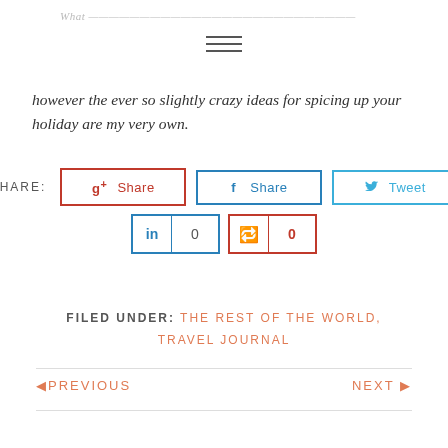however the ever so slightly crazy ideas for spicing up your holiday are my very own.
SHARE: g+ Share  f Share  Tweet  in 0  0
FILED UNDER: THE REST OF THE WORLD, TRAVEL JOURNAL
◁ PREVIOUS    NEXT ▷